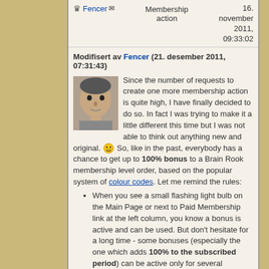Fencer | Membership action | 16. november 2011, 09:33:02
Modifisert av Fencer (21. desember 2011, 07:31:43)
Since the number of requests to create one more membership action is quite high, I have finally decided to do so. In fact I was trying to make it a little different this time but I was not able to think out anything new and original. 😁 So, like in the past, everybody has a chance to get up to 100% bonus to a Brain Rook membership level order, based on the popular system of colour codes. Let me remind the rules:
When you see a small flashing light bulb on the Main Page or next to Paid Membership link at the left column, you know a bonus is active and can be used. But don't hesitate for a long time - some bonuses (especially the one which adds 100% to the subscribed period) can be active only for several minutes.
The bonuses can be used only if a purchased membership is for...